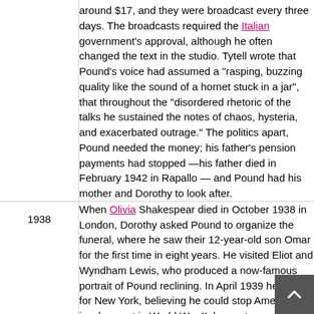around $17, and they were broadcast every three days. The broadcasts required the Italian government's approval, although he often changed the text in the studio. Tytell wrote that Pound's voice had assumed a "rasping, buzzing quality like the sound of a hornet stuck in a jar", that throughout the "disordered rhetoric of the talks he sustained the notes of chaos, hysteria, and exacerbated outrage." The politics apart, Pound needed the money; his father's pension payments had stopped —his father died in February 1942 in Rapallo — and Pound had his mother and Dorothy to look after.
| Year | Event |
| --- | --- |
| 1938 | When Olivia Shakespear died in October 1938 in London, Dorothy asked Pound to organize the funeral, where he saw their 12-year-old son Omar for the first time in eight years. He visited Eliot and Wyndham Lewis, who produced a now-famous portrait of Pound reclining. In April 1939 he sailed for New York, believing he could stop America's involvement in World War II, happy to answer reporters' questions about Mussolini while he lounged on the deck of the ship in a tweed jacket |